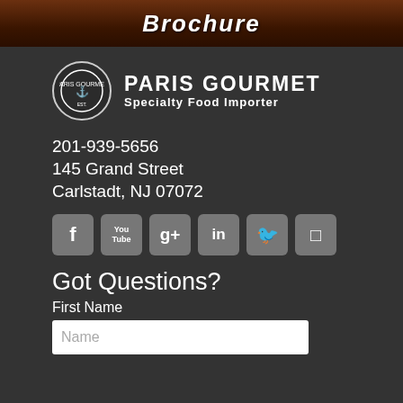[Figure (illustration): Dark brown banner with bold italic text 'Brochure' in white]
[Figure (logo): Paris Gourmet logo: circular emblem with ship/crown motif, company name 'PARIS GOURMET' in bold white, subtitle 'Specialty Food Importer' below]
201-939-5656
145 Grand Street
Carlstadt, NJ 07072
[Figure (infographic): Row of 6 social media icons: Facebook, YouTube, Google+, LinkedIn, Twitter, Instagram]
Got Questions?
First Name
Name